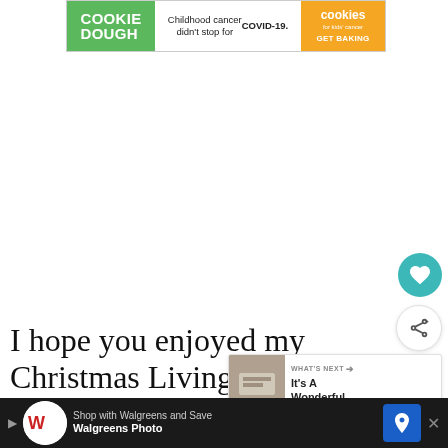[Figure (screenshot): Advertisement banner: Cookie Dough brand on green background left, 'Childhood cancer didn't stop for COVID-19.' in center, orange cookies for kids cancer logo with GET BAKING on right]
[Figure (screenshot): White blank content area (image placeholder or video area)]
[Figure (screenshot): Teal circular heart/save button on right side]
[Figure (screenshot): White circular share button on right side]
[Figure (screenshot): WHAT'S NEXT panel with thumbnail and text: It's A Wonderful...]
I hope you enjoyed my Christmas Living
[Figure (screenshot): Walgreens advertisement banner at bottom: 'Shop with Walgreens and Save' with Walgreens Photo logo and navigation icon]